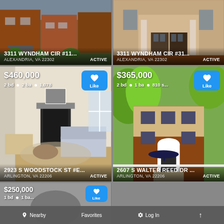[Figure (photo): Row houses brick exterior, 3311 Wyndham Cir #11, Alexandria VA 22302, price overlaid, status: ACTIVE]
[Figure (photo): Townhouse with colonial door, 3311 Wyndham Cir #31, Alexandria VA 22302, status: ACTIVE]
[Figure (photo): Interior living room with fireplace, $460,000, 2 bd 2 ba 1,078 sqft, 2923 S Woodstock St #E, Arlington VA 22206, ACTIVE]
[Figure (photo): Red brick townhouse exterior with trees, $365,000, 2 bd 1 ba 810 sqft, 2607 S Walter Reed Dr, Arlington VA 22206, ACTIVE]
[Figure (photo): Partial card, $250,000, 1 bd 1 ba, partially obscured by nav bar]
Nearby  Favorites  Log In